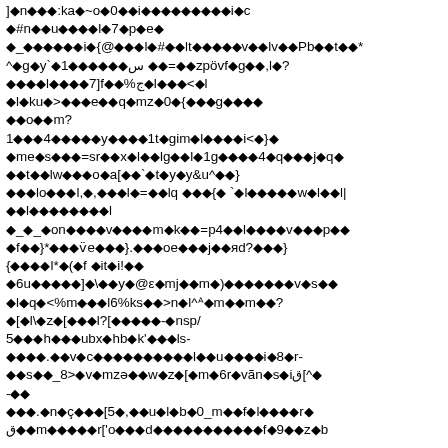]◆n◆◆◆:ka◆~o◆0◆◆i◆◆◆◆◆◆◆◆◆i◆c
◆#n◆◆u◆◆◆◆l◆7◆p◆e◆
◆_◆◆◆◆◆◆i◆{@◆◆◆l◆#◆◆lt◆◆◆◆◆v◆◆lv◆◆Pb◆◆t◆◆*
^◆g◆y`◆1◆◆◆◆◆◆س ◆◆=◆◆zpövf◆g◆◆,l◆?
◆◆◆◆l◆◆◆◆7]f◆◆%ج◆l◆◆◆<◆l
◆l◆ku◆>◆◆◆e◆◆q◆mz◆0◆{◆◆◆g◆◆◆◆
◆◆o◆◆m?
1◆◆◆4◆◆◆◆◆y◆◆◆◆1t◆gim◆l◆◆◆◆i<◆}◆
◆me◆s◆◆◆=sr◆◆x◆l◆◆lg◆◆l◆1g◆◆◆◆4◆q◆◆◆j◆q◆
◆◆t◆◆lw◆◆◆o◆a[◆◆`◆t◆y◆y&u^◆◆}
◆◆◆lo◆◆◆l,◆,◆◆◆l◆=◆◆lq ◆◆◆{◆ `◆l◆◆◆◆◆w◆l◆◆l|
◆◆l◆◆◆◆◆◆◆◆l
◆_◆_◆on◆◆◆◆v◆◆◆◆m◆k◆◆=p4◆◆l◆◆◆◆v◆◆◆p◆◆
◆f◆◆}*◆◆◆v̈e◆◆◆}.◆◆◆oe◆◆◆j◆◆яd?◆◆◆}
{◆◆◆◆l*◆(◆f ◆it◆i!◆◆
◆6u◆◆◆◆◆]◆\◆◆y◆@ε◆mj◆◆m◆)◆◆◆◆◆◆◆v◆s◆◆
◆l◆q◆<%m◆◆◆l6%ks◆◆>n◆l^ᴬ◆m◆◆m◆◆?
◆[◆l\◆z◆[◆◆◆l?[◆◆◆◆◆-◆nsp/
5◆◆◆h◆◆◆ubx◆hb◆k'◆◆◆ls-
◆◆◆◆.◆◆v◆c◆◆◆◆◆◆◆◆◆◆l◆◆u◆◆◆◆i◆8◆r-
◆◆s◆◆_8>◆v◆mzə◆◆w◆z◆[◆m◆6r◆vǣn◆s◆iق[^◆
-◆◆
◆◆◆.◆n◆ç◆◆◆[5◆,◆◆u◆l◆b◆0_m◆◆f◆l◆◆◆◆r◆
ق◆◆m◆◆◆◆◆r['o◆◆◆d◆◆◆◆◆◆◆◆◆◆◆f◆9◆◆z◆b